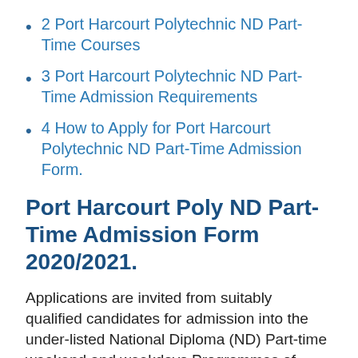2 Port Harcourt Polytechnic ND Part-Time Courses
3 Port Harcourt Polytechnic ND Part-Time Admission Requirements
4 How to Apply for Port Harcourt Polytechnic ND Part-Time Admission Form.
Port Harcourt Poly ND Part-Time Admission Form 2020/2021.
Applications are invited from suitably qualified candidates for admission into the under-listed National Diploma (ND) Part-time weekend and weekdays Programmes of Captain Elechi Amadi Polytechnic for the 2020/2021 academic year.